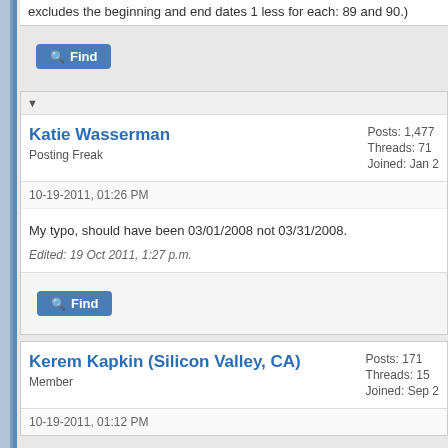excludes the beginning and end dates 1 less for each: 89 and 90.)
[Figure (other): Find button (blue rounded rectangle with magnifying glass icon)]
▼
Katie Wasserman
Posting Freak
Posts: 1,477
Threads: 71
Joined: Jan 2(cut off)
10-19-2011, 01:26 PM
My typo, should have been 03/01/2008 not 03/31/2008.
Edited: 19 Oct 2011, 1:27 p.m.
[Figure (other): Find button (blue rounded rectangle with magnifying glass icon)]
Kerem Kapkin (Silicon Valley, CA)
Member
Posts: 171
Threads: 15
Joined: Sep 2(cut off)
10-19-2011, 01:12 PM